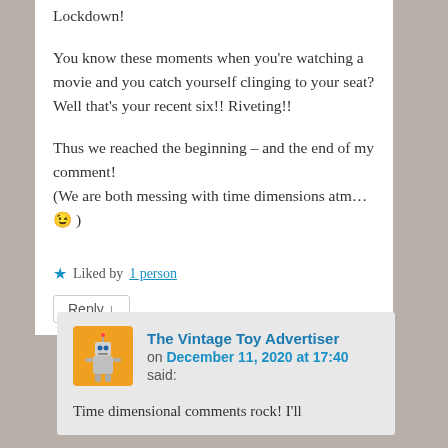Lockdown!
You know these moments when you're watching a movie and you catch yourself clinging to your seat?
Well that's your recent six!! Riveting!!
Thus we reached the beginning – and the end of my comment!
(We are both messing with time dimensions atm...😉 )
★ Liked by 1 person
Reply ↓
The Vintage Toy Advertiser
on December 11, 2020 at 17:40
said:

Time dimensional comments rock! I'll